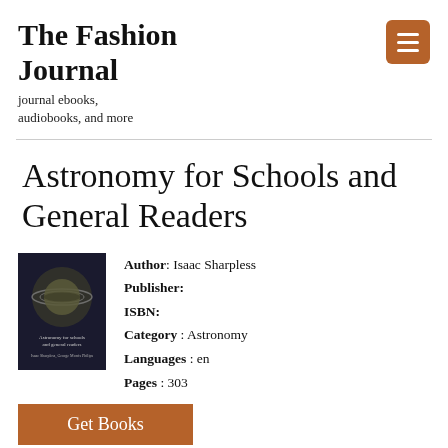The Fashion Journal
journal ebooks, audiobooks, and more
Astronomy for Schools and General Readers
[Figure (illustration): Book cover of 'Astronomy for Schools and General Readers' showing a dark background with a spherical planet-like object and subtitle text at the bottom]
Author: Isaac Sharpless
Publisher:
ISBN:
Category : Astronomy
Languages : en
Pages : 303
Get Books